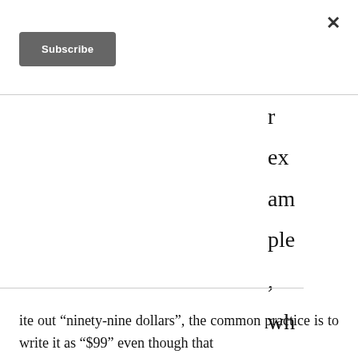[Figure (other): Close (X) button in top right corner of a modal/overlay]
[Figure (other): Subscribe button — dark grey rectangular button with white bold text]
r ex am ple , wh en we wr ite out “ninety-nine dollars”, the common practice is to write it as “$99” even though that
ite out “ninety-nine dollars”, the common practice is to write it as “$99” even though that